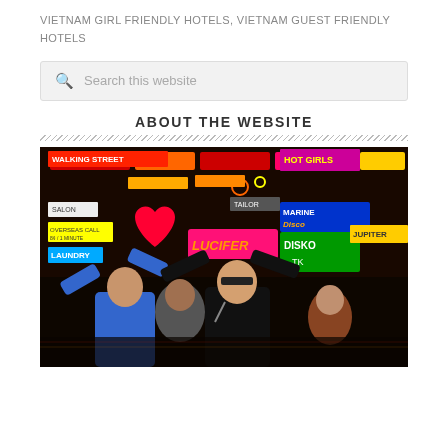VIETNAM GIRL FRIENDLY HOTELS, VIETNAM GUEST FRIENDLY HOTELS
Search this website
ABOUT THE WEBSITE
[Figure (photo): Two men with arms raised on a busy neon-lit street with signs including Walking Street, Hot Girls, Marine Disco, Lucifer, Disko TK, Jupiter, Tailor, Salon, Overseas Call, Laundry]